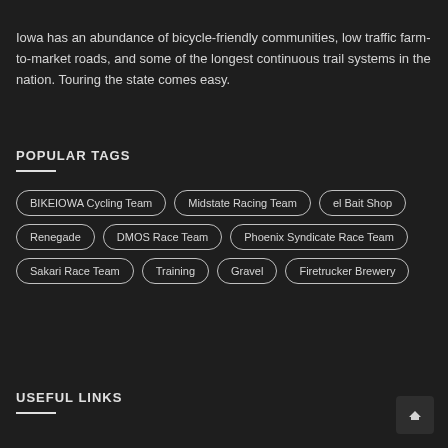Iowa has an abundance of bicycle-friendly communities, low traffic farm-to-market roads, and some of the longest continuous trail systems in the nation. Touring the state comes easy.
POPULAR TAGS
BIKEIOWA Cycling Team
Midstate Racing Team
el Bait Shop
Renegade
DMOS Race Team
Phoenix Syndicate Race Team
Sakari Race Team
Training
Gravel
Firetrucker Brewery
USEFUL LINKS